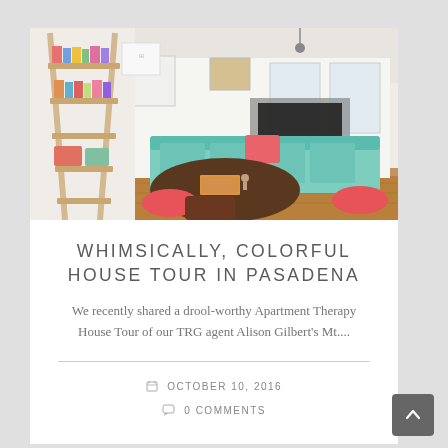[Figure (photo): Bright, colorful living room with wooden bookshelf ladder, round dark dining table, coral pink chairs, teal green sofa, fireplace, and wall art in background.]
WHIMSICALLY, COLORFUL HOUSE TOUR IN PASADENA
We recently shared a drool-worthy Apartment Therapy House Tour of our TRG agent Alison Gilbert's Mt....
OCTOBER 10, 2016
0 COMMENTS